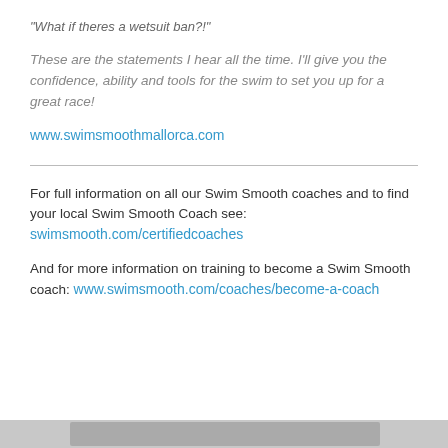"What if theres a wetsuit ban?!"
These are the statements I hear all the time. I'll give you the confidence, ability and tools for the swim to set you up for a great race!
www.swimsmoothmallorca.com
For full information on all our Swim Smooth coaches and to find your local Swim Smooth Coach see: swimsmooth.com/certifiedcoaches
And for more information on training to become a Swim Smooth coach: www.swimsmooth.com/coaches/become-a-coach
[Figure (other): Partial image strip at bottom of page]